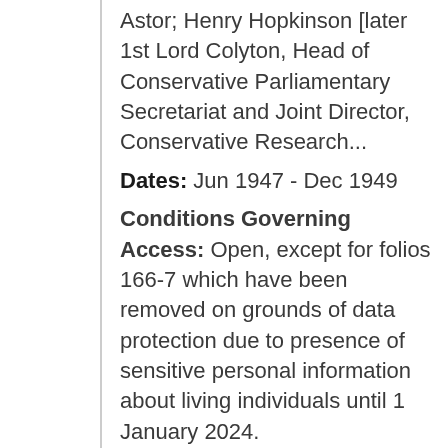Astor; Henry Hopkinson [later 1st Lord Colyton, Head of Conservative Parliamentary Secretariat and Joint Director, Conservative Research...
Dates: Jun 1947 - Dec 1949
Conditions Governing Access: Open, except for folios 166-7 which have been removed on grounds of data protection due to presence of sensitive personal information about living individuals until 1 January 2024.
Found in: Churchill Archives Centre / GBR/0014/CHAR and